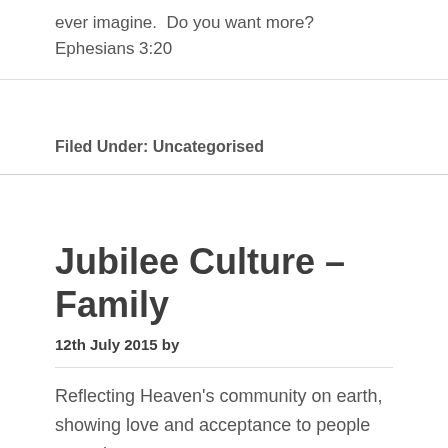ever imagine.  Do you want more? Ephesians 3:20
Filed Under: Uncategorised
Jubilee Culture – Family
12th July 2015 by
Reflecting Heaven's community on earth, showing love and acceptance to people everwhere